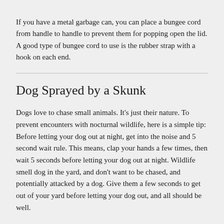If you have a metal garbage can, you can place a bungee cord from handle to handle to prevent them for popping open the lid. A good type of bungee cord to use is the rubber strap with a hook on each end.
Dog Sprayed by a Skunk
Dogs love to chase small animals. It's just their nature. To prevent encounters with nocturnal wildlife, here is a simple tip: Before letting your dog out at night, get into the noise and 5 second wait rule. This means, clap your hands a few times, then wait 5 seconds before letting your dog out at night. Wildlife smell dog in the yard, and don't want to be chased, and potentially attacked by a dog. Give them a few seconds to get out of your yard before letting your dog out, and all should be well.